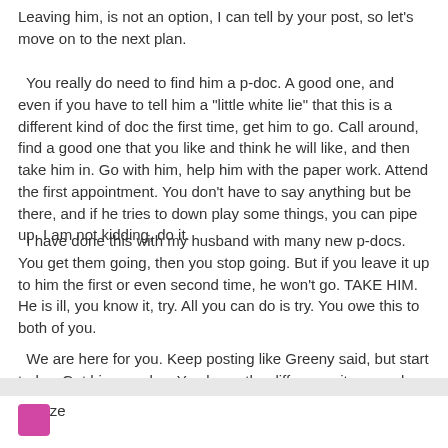Leaving him, is not an option, I can tell by your post, so let's move on to the next plan.
You really do need to find him a p-doc. A good one, and even if you have to tell him a "little white lie" that this is a different kind of doc the first time, get him to go. Call around, find a good one that you like and think he will like, and then take him in. Go with him, help him with the paper work. Attend the first appointment. You don't have to say anything but be there, and if he tries to down play some things, you can pipe up. I am not kidding, do it.
I have done this with my husband with many new p-docs. You get them going, then you stop going. But if you leave it up to him the first or even second time, he won't go. TAKE HIM.  He is ill, you know it, try. All you can do is try. You owe this to both of you.
We are here for you. Keep posting like Greeny said, but start today. Get him a p-doc. You know the difference it can make.
Breeze